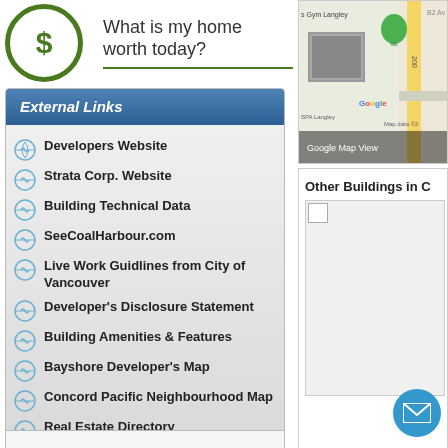[Figure (illustration): Green dollar sign circle icon with 'What is my home worth today?' text]
[Figure (map): Google Map View showing Langley area with street view thumbnail]
External Links
Developers Website
Strata Corp. Website
Building Technical Data
SeeCoalHarbour.com
Live Work Guidlines from City of Vancouver
Developer's Disclosure Statement
Building Amenities & Features
Bayshore Developer's Map
Concord Pacific Neighbourhood Map
Real Estate Directory
Other Buildings in C
[Figure (photo): Building photo placeholder]